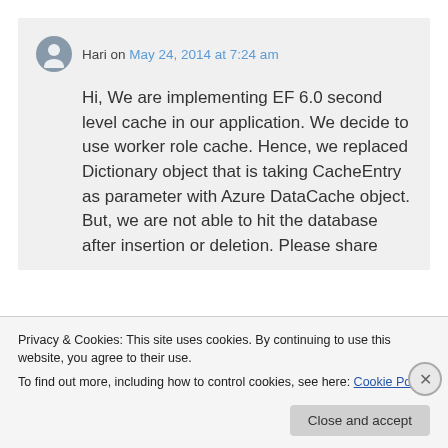Hari on May 24, 2014 at 7:24 am
Hi, We are implementing EF 6.0 second level cache in our application. We decide to use worker role cache. Hence, we replaced Dictionary object that is taking CacheEntry as parameter with Azure DataCache object. But, we are not able to hit the database after insertion or deletion. Please share
Privacy & Cookies: This site uses cookies. By continuing to use this website, you agree to their use.
To find out more, including how to control cookies, see here: Cookie Policy